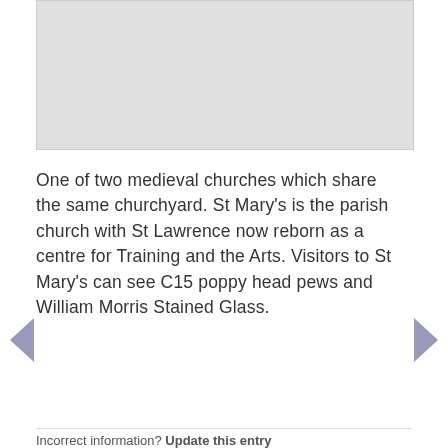[Figure (map): Light grey map placeholder rectangle]
One of two medieval churches which share the same churchyard. St Mary's is the parish church with St Lawrence now reborn as a centre for Training and the Arts. Visitors to St Mary's can see C15 poppy head pews and William Morris Stained Glass.
Incorrect information? Update this entry